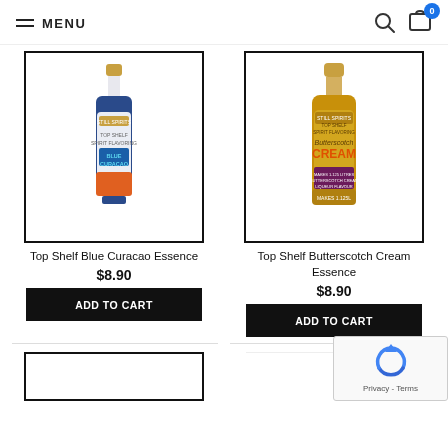MENU
[Figure (photo): Blue Curacao spirit flavoring bottle with gold cap, blue and orange label]
Top Shelf Blue Curacao Essence
$8.90
ADD TO CART
[Figure (photo): Butterscotch Cream spirit flavoring bottle with gold cap, yellow/gold and purple label]
Top Shelf Butterscotch Cream Essence
$8.90
ADD TO CART
[Figure (screenshot): reCAPTCHA widget with Privacy and Terms links]